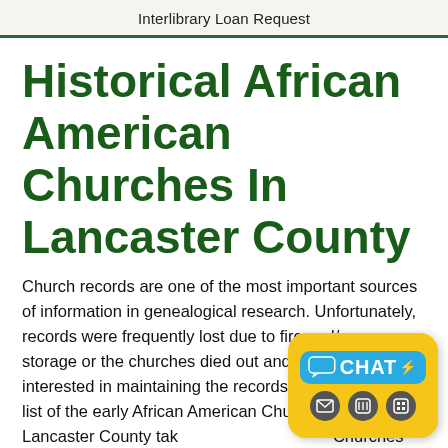Interlibrary Loan Request
Historical African American Churches In Lancaster County
Church records are one of the most important sources of information in genealogical research. Unfortunately, records were frequently lost due to fire and/or poor storage or the churches died out and no one was interested in maintaining the records. Below is a partial list of the early African American Churches in Lancaster County taken from Churches and Cemeteries of Lancaster County, Pennsylvania: A Complete Guide by A. Hunter Rineer, Jr.
[Figure (other): Chat widget button with yellow speech bubble background, blue CHAT label with lightning bolt icon, and three circular icon buttons below]